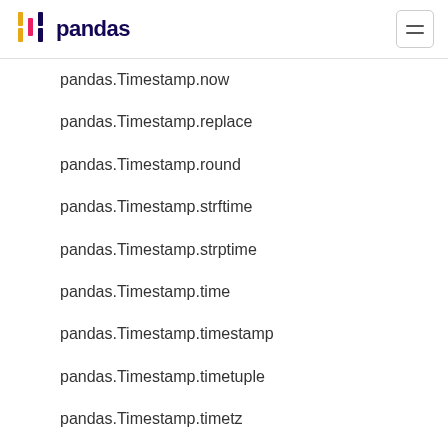pandas
pandas.Timestamp.now
pandas.Timestamp.replace
pandas.Timestamp.round
pandas.Timestamp.strftime
pandas.Timestamp.strptime
pandas.Timestamp.time
pandas.Timestamp.timestamp
pandas.Timestamp.timetuple
pandas.Timestamp.timetz
pandas.Timestamp.to_datetime64
pandas.Timestamp.to_numpy
pandas.Timestamp.to_julian_date
pandas.Timestamp.to_period